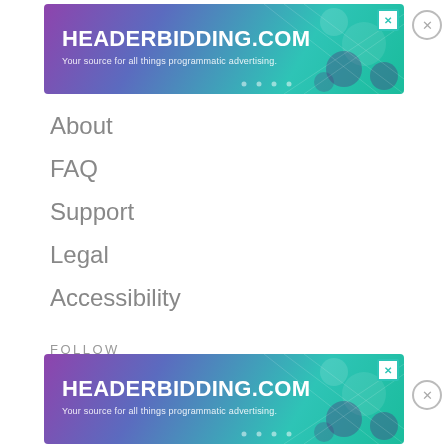[Figure (other): HEADERBIDDING.COM advertisement banner at top. Teal/purple gradient background with text 'HEADERBIDDING.COM' and 'Your source for all things programmatic advertising.']
About
FAQ
Support
Legal
Accessibility
FOLLOW
[Figure (logo): Facebook logo icon (blue circle with white 'f')]
Facebook
[Figure (other): HEADERBIDDING.COM advertisement banner at bottom. Teal/purple gradient background with text 'HEADERBIDDING.COM' and 'Your source for all things programmatic advertising.']